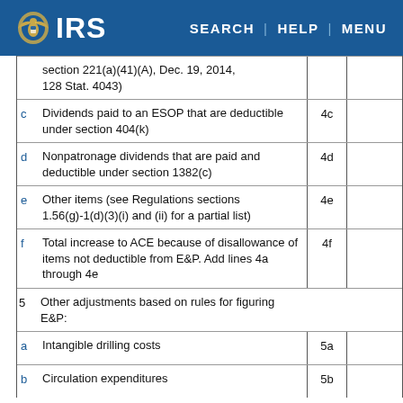IRS — SEARCH | HELP | MENU
section 221(a)(41)(A), Dec. 19, 2014, 128 Stat. 4043)
c  Dividends paid to an ESOP that are deductible under section 404(k)  4c
d  Nonpatronage dividends that are paid and deductible under section 1382(c)  4d
e  Other items (see Regulations sections 1.56(g)-1(d)(3)(i) and (ii) for a partial list)  4e
f  Total increase to ACE because of disallowance of items not deductible from E&P. Add lines 4a through 4e  4f
5  Other adjustments based on rules for figuring E&P:
a  Intangible drilling costs  5a
b  Circulation expenditures  5b